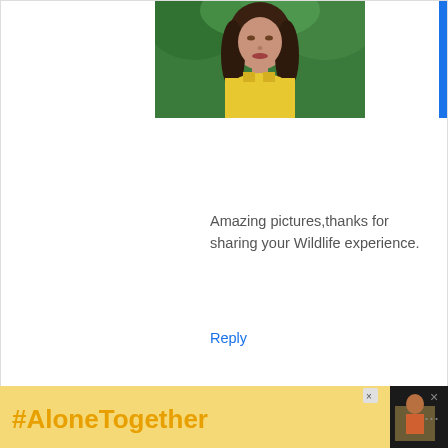[Figure (photo): Profile photo of a woman with long dark hair wearing a yellow top, outdoors with green background]
Amazing pictures,thanks for sharing your Wildlife experience.
Reply
If you want a photo to show with your comment, go get a
[Figure (infographic): Advertisement banner with #AloneTogether text in orange on yellow background, with a photo of a woman cooking and close buttons]